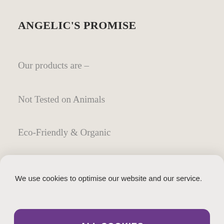ANGELIC'S PROMISE
Our products are –
Not Tested on Animals
Eco-Friendly & Organic
Paraben Free
We use cookies to optimise our website and our service.
ALL COOKIES
DENY
VIEW PREFERENCES
Cookie policy